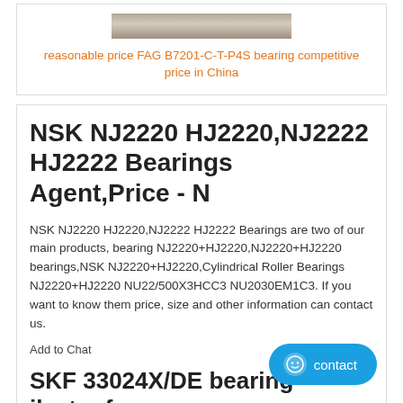[Figure (photo): Image of FAG bearings]
reasonable price FAG B7201-C-T-P4S bearing competitive price in China
NSK NJ2220 HJ2220,NJ2222 HJ2222 Bearings Agent,Price - N
NSK NJ2220 HJ2220,NJ2222 HJ2222 Bearings are two of our main products, bearing NJ2220+HJ2220,NJ2220+HJ2220 bearings,NSK NJ2220+HJ2220,Cylindrical Roller Bearings NJ2220+HJ2220 NU22/500X3HCC3 NU2030EM1C3. If you want to know them price, size and other information can contact us.
Add to Chat
SKF 33024X/DF bearing - ilsetonf.c